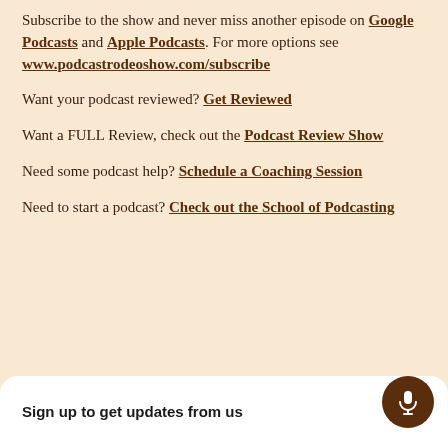Subscribe to the show and never miss another episode on Google Podcasts and Apple Podcasts. For more options see www.podcastrodeoshow.com/subscribe
Want your podcast reviewed? Get Reviewed
Want a FULL Review, check out the Podcast Review Show
Need some podcast help? Schedule a Coaching Session
Need to start a podcast? Check out the School of Podcasting
Sign up to get updates from us